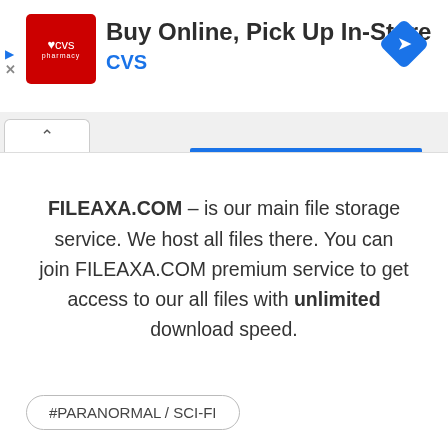[Figure (screenshot): CVS Pharmacy advertisement banner: 'Buy Online, Pick Up In-Store' with CVS logo and navigation arrow icon]
FILEAXA.COM – is our main file storage service. We host all files there. You can join FILEAXA.COM premium service to get access to our all files with unlimited download speed.
#PARANORMAL / SCI-FI